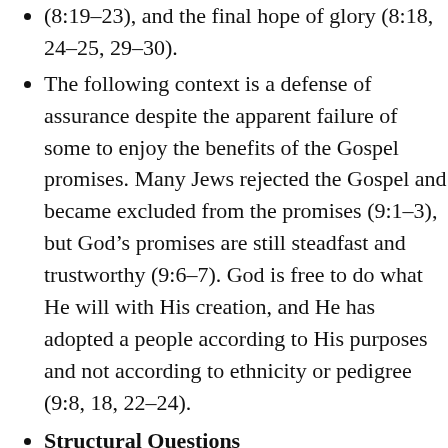(8:19–23), and the final hope of glory (8:18, 24–25, 29–30).
The following context is a defense of assurance despite the apparent failure of some to enjoy the benefits of the Gospel promises. Many Jews rejected the Gospel and became excluded from the promises (9:1–3), but God's promises are still steadfast and trustworthy (9:6–7). God is free to do what He will with His creation, and He has adopted a people according to His purposes and not according to ethnicity or pedigree (9:8, 18, 22–24).
Structural Questions
Are there any repeated words? Repeated phrases?